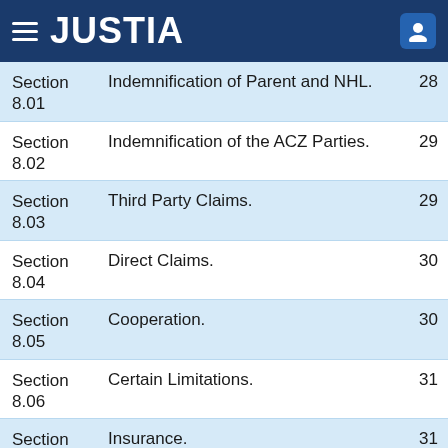JUSTIA
| Section | Title | Page |
| --- | --- | --- |
| Section 8.01 | Indemnification of Parent and NHL. | 28 |
| Section 8.02 | Indemnification of the ACZ Parties. | 29 |
| Section 8.03 | Third Party Claims. | 29 |
| Section 8.04 | Direct Claims. | 30 |
| Section 8.05 | Cooperation. | 30 |
| Section 8.06 | Certain Limitations. | 31 |
| Section 8.07 | Insurance. | 31 |
| Section 8.08 | Time Limit. | 31 |